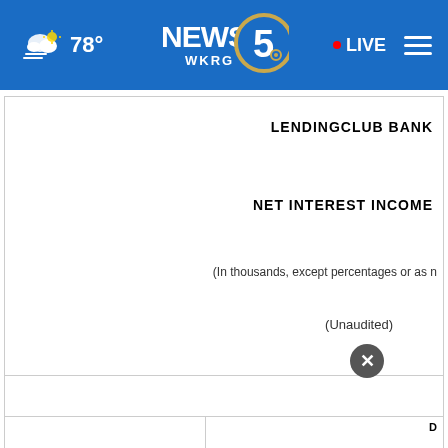[Figure (screenshot): WKRG News 5 website navigation bar with weather icon, 78° temperature, News 5 WKRG logo, LIVE button, and hamburger menu on blue background]
LENDINGCLUB BANK
NET INTEREST INCOME
(In thousands, except percentages or as noted)
(Unaudited)
[Figure (photo): Official Forecasters advertisement banner with baseball game imagery and green overlay text]